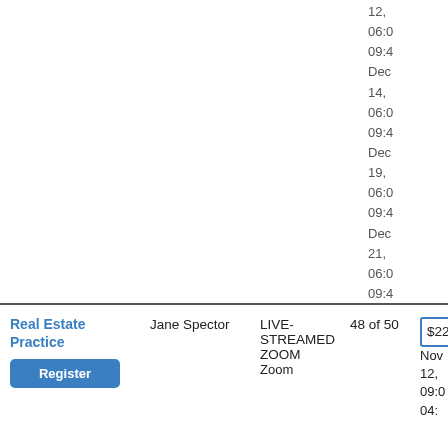12,
06:0
09:4
Dec
14,
06:0
09:4
Dec
19,
06:0
09:4
Dec
21,
06:0
09:4
Dec
28,
06:0
09:4
| Course | Instructor | Format | Spots | Price | Dates |
| --- | --- | --- | --- | --- | --- |
| Real Estate Practice | Jane Spector | LIVE-STREAMED ZOOM
Zoom | 48 of 50 | $225 | Nov 12,
09:0
04: |